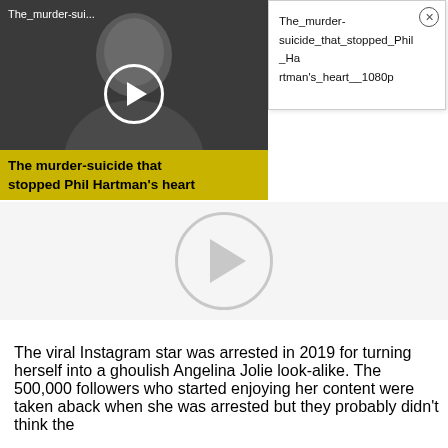[Figure (screenshot): Video thumbnail with grayscale photo of a man, play button, yellow title bar reading 'The murder-suicide that stopped Phil Hartman's heart', and header text 'The_murder-sui...']
The_murder-suicide_that_stopped_Phil_Hartman's_heart__1080p
[Figure (screenshot): Large video player area with gray play button circle in center]
The viral Instagram star was arrested in 2019 for turning herself into a ghoulish Angelina Jolie look-alike. The 500,000 followers who started enjoying her content were taken aback when she was arrested but they probably didn't think the